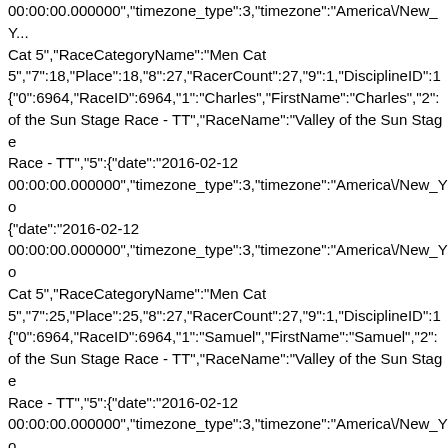00:00:00.000000","timezone_type":3,"timezone":"America\/New_Y... Cat 5","RaceCategoryName":"Men Cat 5","7":18,"Place":18,"8":27,"RacerCount":27,"9":1,"DisciplineID":1 {"0":6964,"RaceID":6964,"1":"Charles","FirstName":"Charles","2": of the Sun Stage Race - TT","RaceName":"Valley of the Sun Stage Race - TT","5":{"date":"2016-02-12 00:00:00.000000","timezone_type":3,"timezone":"America\/New_Yo {"date":"2016-02-12 00:00:00.000000","timezone_type":3,"timezone":"America\/New_Yo Cat 5","RaceCategoryName":"Men Cat 5","7":25,"Place":25,"8":27,"RacerCount":27,"9":1,"DisciplineID":1 {"0":6964,"RaceID":6964,"1":"Samuel","FirstName":"Samuel","2": of the Sun Stage Race - TT","RaceName":"Valley of the Sun Stage Race - TT","5":{"date":"2016-02-12 00:00:00.000000","timezone_type":3,"timezone":"America\/New_Yo {"date":"2016-02-12 00:00:00.000000","timezone_type":3,"timezone":"America\/New_Yo Junior 17-18","RaceCategoryName":"Men Junior 17-18","7":59,"Place":59,"8":85,"RacerCount":85,"9":1,"DisciplineID": {"0":6964,"RaceID":6964,"1":"Michael","FirstName":"Michael","2" of the Sun Stage Race - TT","RaceName":"Valley of the Sun Stage Race - TT","5":{"date":"2016-02-12 00:00:00.000000","timezone_type":3,"timezone":"America\/New_Yo {"date":"2016-02-12 00:00:00.000000","timezone_type":3,"timezone":"America\/New_Yo Cat 3","RaceCategoryName":"Men Cat